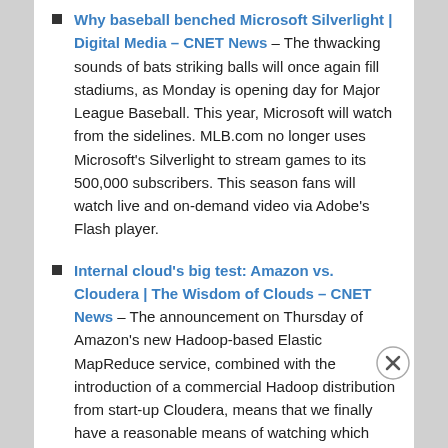Why baseball benched Microsoft Silverlight | Digital Media – CNET News – The thwacking sounds of bats striking balls will once again fill stadiums, as Monday is opening day for Major League Baseball. This year, Microsoft will watch from the sidelines. MLB.com no longer uses Microsoft's Silverlight to stream games to its 500,000 subscribers. This season fans will watch live and on-demand video via Adobe's Flash player.
Internal cloud's big test: Amazon vs. Cloudera | The Wisdom of Clouds – CNET News – The announcement on Thursday of Amazon's new Hadoop-based Elastic MapReduce service, combined with the introduction of a commercial Hadoop distribution from start-up Cloudera, means that we finally have a reasonable means of watching which direction enterprises [truncated]
Advertisements
[Figure (other): P2 advertisement banner: logo box with P with square icon and 'P2' text, ad copy reads 'Getting your team on the same page is easy. And free.']